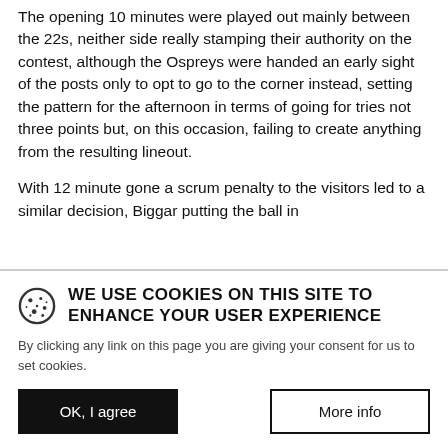The opening 10 minutes were played out mainly between the 22s, neither side really stamping their authority on the contest, although the Ospreys were handed an early sight of the posts only to opt to go to the corner instead, setting the pattern for the afternoon in terms of going for tries not three points but, on this occasion, failing to create anything from the resulting lineout.
With 12 minute gone a scrum penalty to the visitors led to a similar decision, Biggar putting the ball in
WE USE COOKIES ON THIS SITE TO ENHANCE YOUR USER EXPERIENCE
By clicking any link on this page you are giving your consent for us to set cookies.
OK, I agree
More info